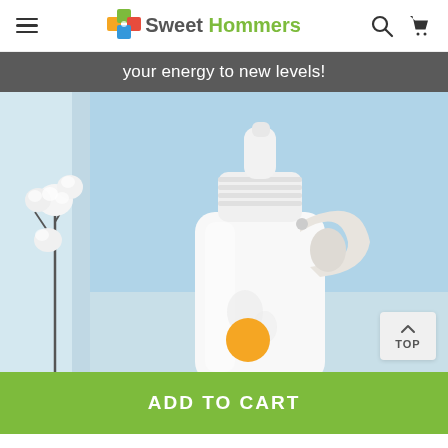Sweet Hommers
your energy to new levels!
[Figure (photo): Close-up photo of a white sports water bottle with a flip-top lid and an orange circular button, placed against a light blue background with a cotton flower branch on the left side.]
ADD TO CART